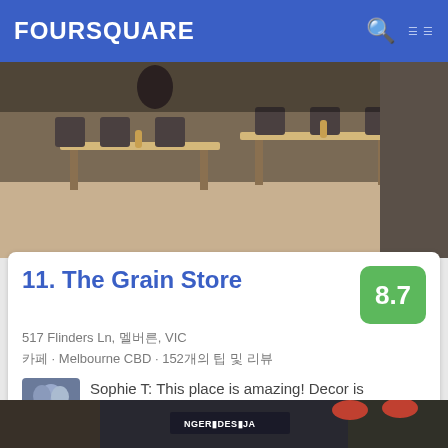FOURSQUARE
[Figure (photo): Interior photo of The Grain Store restaurant showing wooden tables and dark chairs]
11. The Grain Store
517 Flinders Ln, 멜버른, VIC
카페 · Melbourne CBD · 152개의 팁 및 리뷰
Sophie T: This place is amazing! Decor is beautiful, delicious healthy food and great coffee, the staff are really friendly too. Highly recommended!
[Figure (photo): Bottom strip showing exterior of another restaurant with signage]